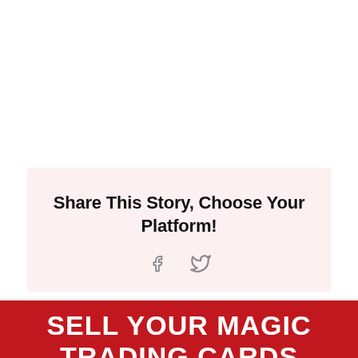Share This Story, Choose Your Platform!
[Figure (illustration): Facebook and Twitter social share icons]
SELL YOUR MAGIC TRADING CARDS